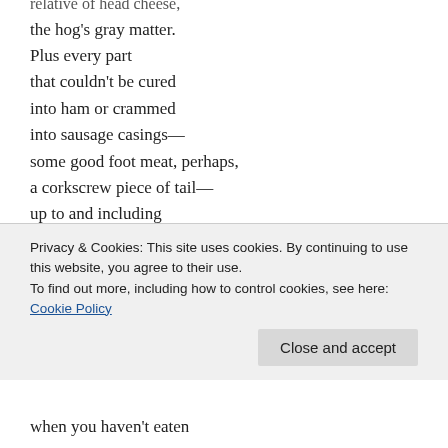relative of head cheese,
the hog's gray matter.
Plus every part
that couldn't be cured
into ham or crammed
into sausage casings—
some good foot meat, perhaps,
a corkscrew piece of tail—
up to and including
the oleaginous grunt.
Always the butt of jokes
for the ignorant mass
of wiener-eaters who prefer
Privacy & Cookies: This site uses cookies. By continuing to use this website, you agree to their use.
To find out more, including how to control cookies, see here: Cookie Policy
Close and accept
when you haven't eaten